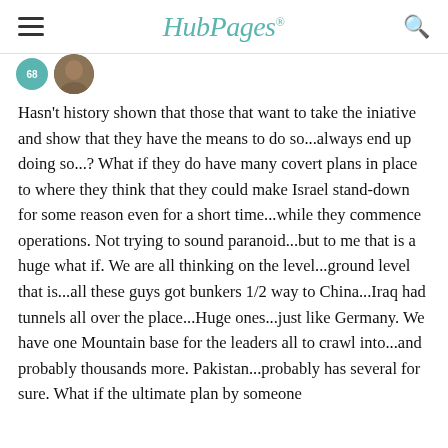HubPages
Hasn't history shown that those that want to take the iniative and show that they have the means to do so...always end up doing so...? What if they do have many covert plans in place to where they think that they could make Israel stand-down for some reason even for a short time...while they commence operations. Not trying to sound paranoid...but to me that is a huge what if. We are all thinking on the level...ground level that is...all these guys got bunkers 1/2 way to China...Iraq had tunnels all over the place...Huge ones...just like Germany. We have one Mountain base for the leaders all to crawl into...and probably thousands more. Pakistan...probably has several for sure. What if the ultimate plan by someone